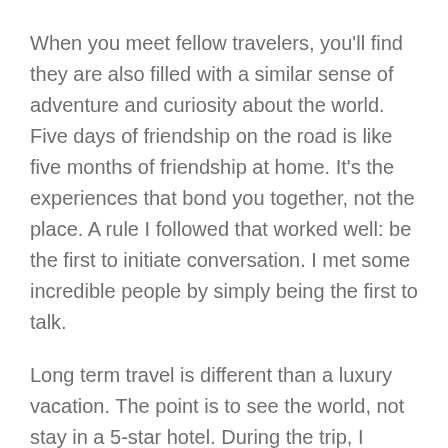When you meet fellow travelers, you'll find they are also filled with a similar sense of adventure and curiosity about the world. Five days of friendship on the road is like five months of friendship at home. It's the experiences that bond you together, not the place. A rule I followed that worked well: be the first to initiate conversation. I met some incredible people by simply being the first to talk.
Long term travel is different than a luxury vacation. The point is to see the world, not stay in a 5-star hotel. During the trip, I stayed on a strict budget. The goal was to spend no more than $33 per day on accommodations. After a year, I was able to spend only $26.15 per day by booking through HostelWorld and Airbnb. When I wanted to meet people, I'd stay in a shared room at a hostel. When I wanted to be alone, I'd